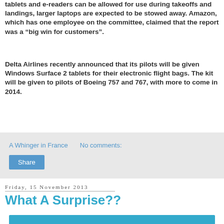tablets and e-readers can be allowed for use during takeoffs and landings, larger laptops are expected to be stowed away. Amazon, which has one employee on the committee, claimed that the report was a “big win for customers”.
Delta Airlines recently announced that its pilots will be given Windows Surface 2 tablets for their electronic flight bags. The kit will be given to pilots of Boeing 757 and 767, with more to come in 2014.
A Whinger in France   No comments:
Share
Friday, 15 November 2013
What A Surprise??
[Figure (photo): Blue image at bottom of page, partially visible]